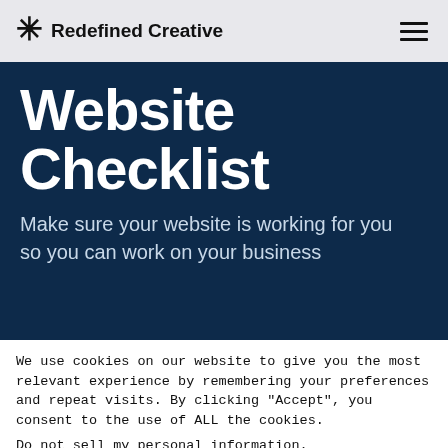Redefined Creative
Website Checklist
Make sure your website is working for you so you can work on your business
We use cookies on our website to give you the most relevant experience by remembering your preferences and repeat visits. By clicking “Accept”, you consent to the use of ALL the cookies.
Do not sell my personal information.
Settings  ACCEPT